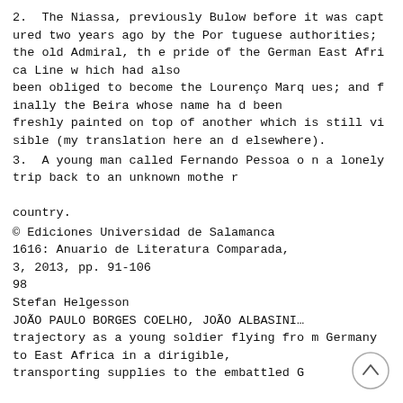2.  The Niassa, previously Bulow before it was captured two years ago by the Portuguese authorities; the old Admiral, the pride of the German East Africa Line which had also
been obliged to become the Lourenço Marques; and finally the Beira whose name had been
freshly painted on top of another which is still visible (my translation here and elsewhere).
3.  A young man called Fernando Pessoa on a lonely trip back to an unknown mother

country.
© Ediciones Universidad de Salamanca
1616: Anuario de Literatura Comparada,
3, 2013, pp. 91-106
98
Stefan Helgesson
JOÃO PAULO BORGES COELHO, JOÃO ALBASINI…
trajectory as a young soldier flying from Germany to East Africa in a dirigible,
transporting supplies to the embattled G